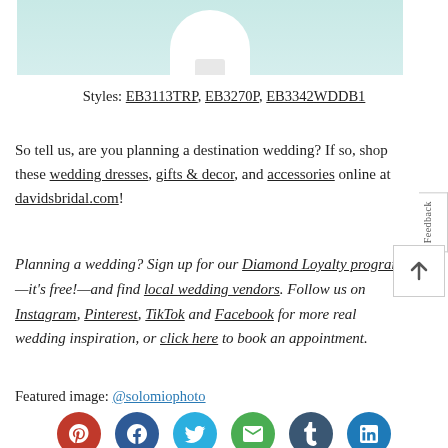[Figure (photo): Partial image of a white wedding dress/accessory on a light teal/mint background, cropped at top of page]
Styles: EB3113TRP, EB3270P, EB3342WDDB1
So tell us, are you planning a destination wedding? If so, shop these wedding dresses, gifts & decor, and accessories online at davidsbridal.com!
Planning a wedding? Sign up for our Diamond Loyalty program—it's free!—and find local wedding vendors. Follow us on Instagram, Pinterest, TikTok and Facebook for more real wedding inspiration, or click here to book an appointment.
Featured image: @solomiophoto
[Figure (infographic): Six social media icon circles: Pinterest (red), Facebook (dark blue), Twitter (light blue), Email (green), Tumblr (dark slate), LinkedIn (blue)]